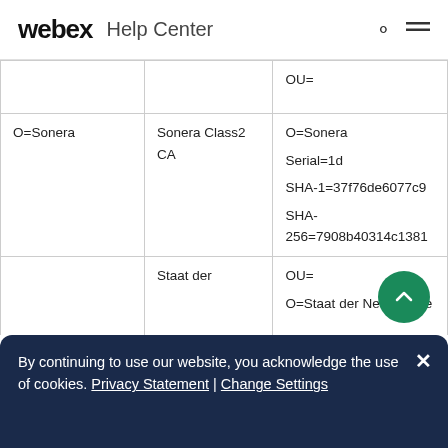webex Help Center
| Column 1 | Column 2 | Column 3 |
| --- | --- | --- |
|  |  | OU= |
| O=Sonera | Sonera Class2 CA | O=Sonera
Serial=1d
SHA-1=37f76de6077c9
SHA-256=7908b40314c1381 |
|  | Staat der | OU=
O=Staat der Nederlande |
By continuing to use our website, you acknowledge the use of cookies. Privacy Statement | Change Settings